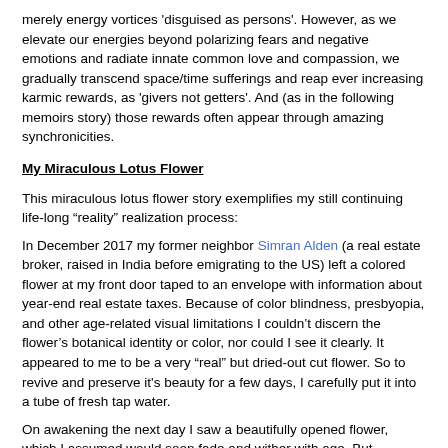merely energy vortices 'disguised as persons'. However, as we elevate our energies beyond polarizing fears and negative emotions and radiate innate common love and compassion, we gradually transcend space/time sufferings and reap ever increasing karmic rewards, as 'givers not getters'. And (as in the following memoirs story) those rewards often appear through amazing synchronicities.
My Miraculous Lotus Flower
This miraculous lotus flower story exemplifies my still continuing life-long “reality” realization process:
In December 2017 my former neighbor Simran Alden (a real estate broker, raised in India before emigrating to the US) left a colored flower at my front door taped to an envelope with information about year-end real estate taxes. Because of color blindness, presbyopia, and other age-related visual limitations I couldn’t discern the flower’s botanical identity or color, nor could I see it clearly. It appeared to me to be a very “real” but dried-out cut flower. So to revive and preserve it's beauty for a few days, I carefully put it into a tube of fresh tap water.
On awakening the next day I saw a beautifully opened flower, which I assumed would soon fade and wither with age. But miraculously it stayed “alive” and beautiful. And I soon believed that the “real” flower was forming roots on seeing as organic material in the water tube.